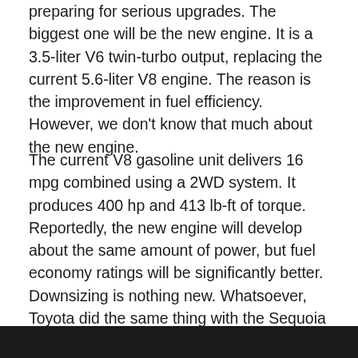preparing for serious upgrades. The biggest one will be the new engine. It is a 3.5-liter V6 twin-turbo output, replacing the current 5.6-liter V8 engine. The reason is the improvement in fuel efficiency. However, we don't know that much about the new engine.
The current V8 gasoline unit delivers 16 mpg combined using a 2WD system. It produces 400 hp and 413 lb-ft of torque. Reportedly, the new engine will develop about the same amount of power, but fuel economy ratings will be significantly better. Downsizing is nothing new. Whatsoever, Toyota did the same thing with the Sequoia SUV, just like Ford did with the Expedition model. Still, you can find larger V8 displacements in the segment, in models such as Jeep Grand Wagoneer or Chevy Suburban.
[Figure (photo): Dark image strip at the bottom of the page, appears to be a vehicle photo partially visible]